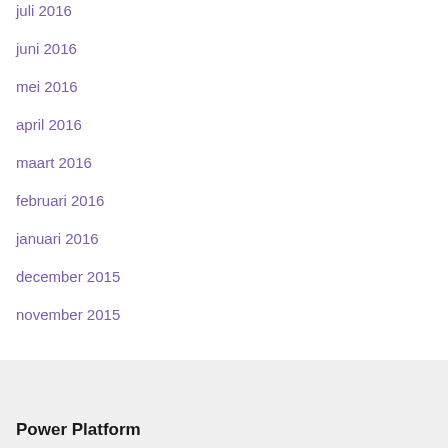juli 2016
juni 2016
mei 2016
april 2016
maart 2016
februari 2016
januari 2016
december 2015
november 2015
Power Platform